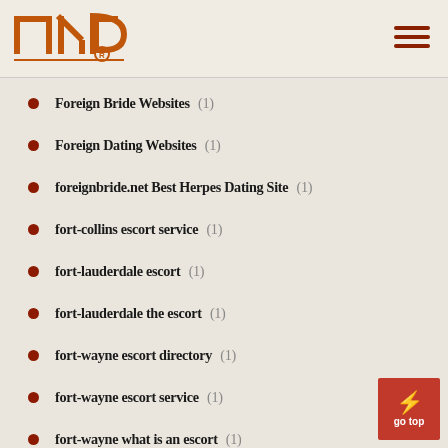INP logo and navigation
Foreign Bride Websites (1)
Foreign Dating Websites (1)
foreignbride.net Best Herpes Dating Site (1)
fort-collins escort service (1)
fort-lauderdale escort (1)
fort-lauderdale the escort (1)
fort-wayne escort directory (1)
fort-wayne escort service (1)
fort-wayne what is an escort (1)
fort-worth what is an escort (1)
france-farmers-dating sign in (1)